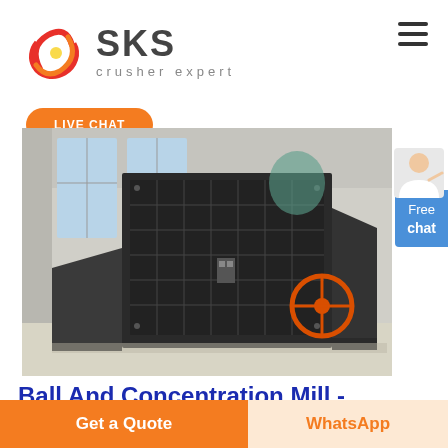[Figure (logo): SKS Crusher Expert logo with stylized red/orange circular graphic and bold grey SKS text, subtitle 'crusher expert']
LIVE CHAT
[Figure (photo): Industrial impact crusher / ball mill machine in a factory warehouse setting, large black metal equipment with orange flywheel]
Free chat
Ball And Concentration Mill -
Get a Quote
WhatsApp